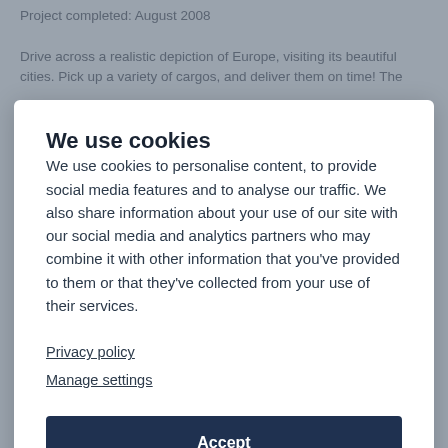Project completed: August 2008
Drive across a realistic depiction of Europe, visiting its beautiful cities. Pick up a variety of cargos, and deliver them on time! The
We use cookies
We use cookies to personalise content, to provide social media features and to analyse our traffic. We also share information about your use of our site with our social media and analytics partners who may combine it with other information that you've provided to them or that they've collected from your use of their services.
Privacy policy
Manage settings
Accept
Reject